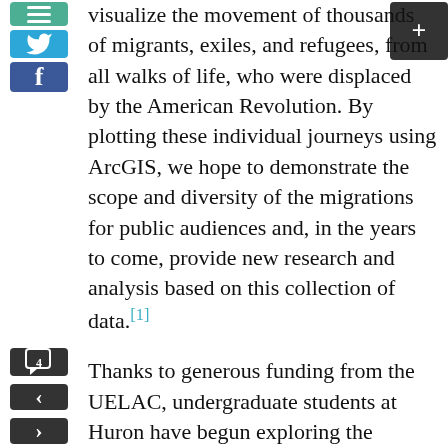visualize the movement of thousands of migrants, exiles, and refugees, from all walks of life, who were displaced by the American Revolution. By plotting these individual journeys using ArcGIS, we hope to demonstrate the scope and diversity of the migrations for public audiences and, in the years to come, provide new research and analysis based on this collection of data.[1]
Thanks to generous funding from the UELAC, undergraduate students at Huron have begun exploring the journeys found in the Loyalist Directory, a resource of over 9000 entries describing families and individuals who resettled in Canada. The family stories contained in these entries would have remained scattered in land registries, church